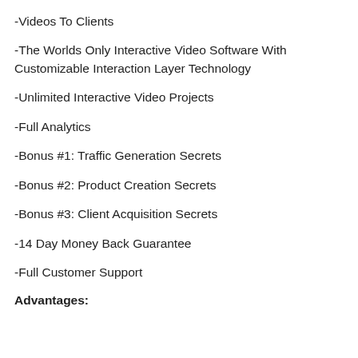-Videos To Clients
-The Worlds Only Interactive Video Software With Customizable Interaction Layer Technology
-Unlimited Interactive Video Projects
-Full Analytics
-Bonus #1: Traffic Generation Secrets
-Bonus #2: Product Creation Secrets
-Bonus #3: Client Acquisition Secrets
-14 Day Money Back Guarantee
-Full Customer Support
Advantages: